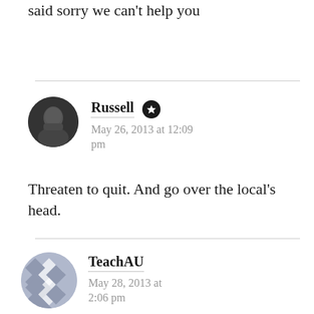I called them and they basically said sorry we can't help you
Russell
May 26, 2013 at 12:09 pm
Threaten to quit. And go over the local's head.
TeachAU
May 28, 2013 at 2:06 pm